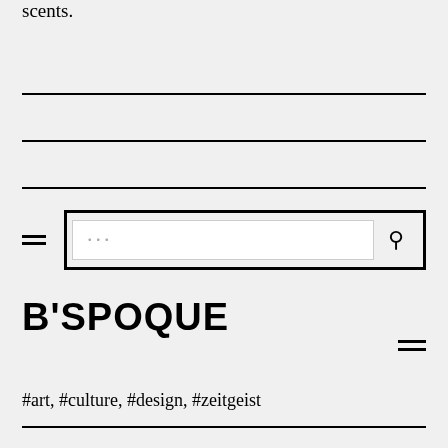scents.
[Figure (screenshot): Website navigation area with hamburger menu icon and search box with outer border, inner input field showing ellipsis placeholder, and search icon]
B'SPOQUE
#art, #culture, #design, #zeitgeist